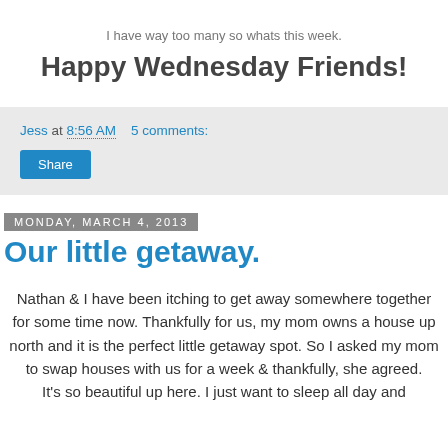I have way too many so whats this week.
Happy Wednesday Friends!
Jess at 8:56 AM    5 comments:
Share
Monday, March 4, 2013
Our little getaway.
Nathan & I have been itching to get away somewhere together for some time now. Thankfully for us, my mom owns a house up north and it is the perfect little getaway spot. So I asked my mom to swap houses with us for a week & thankfully, she agreed.
It's so beautiful up here. I just want to sleep all day and